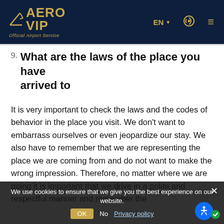AERO VIP Official Airport Service | EN | navigation
9. What are the laws of the place you have arrived to
It is very important to check the laws and the codes of behavior in the place you visit. We don't want to embarrass ourselves or even jeopardize our stay. We also have to remember that we are representing the place we are coming from and do not want to make the wrong impression. Therefore, no matter where we are going it is important that we drive in a polite and respectful manner and remember the
We use cookies to ensure that we give you the best experience on our website.
OK  No  Privacy policy